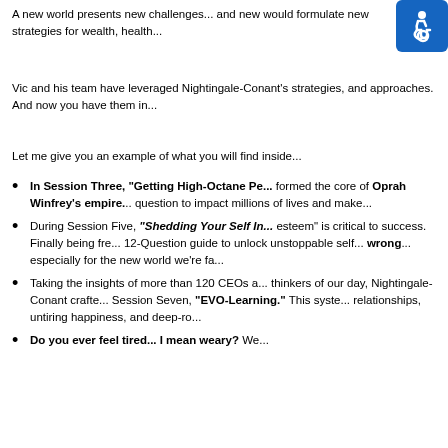A new world presents new challenges... and new would formulate new strategies for wealth, health...
[Figure (logo): Accessibility icon - white wheelchair user on blue background]
Vic and his team have leveraged Nightingale-Conant's strategies, and approaches. And now you have them in...
Let me give you an example of what you will find inside...
In Session Three, "Getting High-Octane Pe... formed the core of Oprah Winfrey's empire.... question to impact millions of lives and make...
During Session Five, "Shedding Your Self In... esteem" is critical to success. Finally being fre... 12-Question guide to unlock unstoppable self... wrong... especially for the new world we're fa...
Taking the insights of more than 120 CEOs a... thinkers of our day, Nightingale-Conant crafte... Session Seven, "EVO-Learning." This syste... relationships, untiring happiness, and deep-ro...
Do you ever feel tired... I mean weary? We...